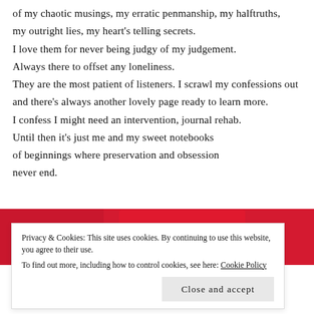of my chaotic musings, my erratic penmanship, my halftruths, my outright lies, my heart's telling secrets. I love them for never being judgy of my judgement. Always there to offset any loneliness. They are the most patient of listeners. I scrawl my confessions out and there's always another lovely page ready to learn more. I confess I might need an intervention, journal rehab. Until then it's just me and my sweet notebooks of beginnings where preservation and obsession never end.
[Figure (photo): Red background with a red notebook/device and a white circular logo partially visible]
Privacy & Cookies: This site uses cookies. By continuing to use this website, you agree to their use. To find out more, including how to control cookies, see here: Cookie Policy
Close and accept